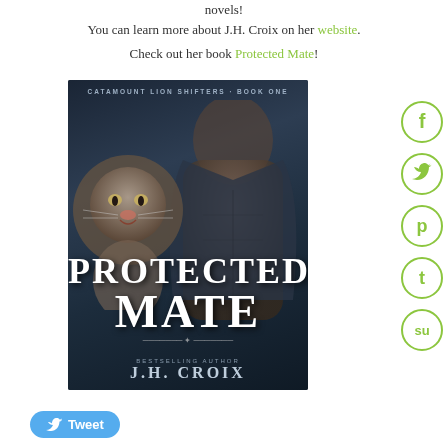novels!
You can learn more about J.H. Croix on her website.
Check out her book Protected Mate!
[Figure (illustration): Book cover for 'Protected Mate' by J.H. Croix — Catamount Lion Shifters Book One. Dark moody cover featuring a shirtless man and a lion/cougar. Large stylized title text reads PROTECTED MATE. Bottom reads BESTSELLING AUTHOR J.H. CROIX.]
[Figure (infographic): Social media share icons on right side: Facebook (f), Twitter bird, Pinterest (p), Tumblr (t), StumbleUpon (su) — all in green outlined circles.]
[Figure (other): Blue Tweet button with Twitter bird icon at bottom left.]